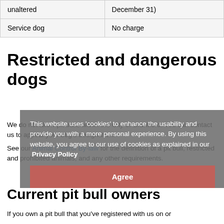|  |  |
| --- | --- |
| unaltered | December 31) |
| Service dog | No charge |
Restricted and dangerous dogs
We do not allow pit bulls within the City of Brantford. You can contact us to appeal your dog's designation.
See our Animal Control By-law for the definition of a pit bull, restricted and prohibited animals, and any other requirements.
This website uses 'cookies' to enhance the usability and provide you with a more personal experience. By using this website, you agree to our use of cookies as explained in our Privacy Policy
Current pit bull owners
If you own a pit bull that you've registered with us on or